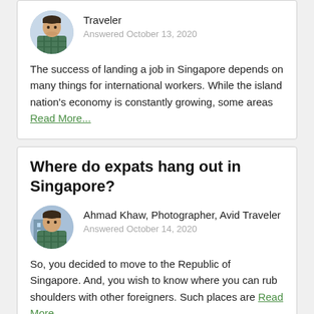Traveler
Answered October 13, 2020
The success of landing a job in Singapore depends on many things for international workers. While the island nation's economy is constantly growing, some areas Read More...
Where do expats hang out in Singapore?
Ahmad Khaw, Photographer, Avid Traveler
Answered October 14, 2020
So, you decided to move to the Republic of Singapore. And, you wish to know where you can rub shoulders with other foreigners. Such places are Read More...